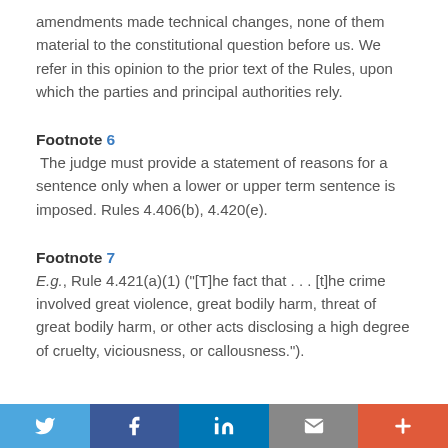amendments made technical changes, none of them material to the constitutional question before us. We refer in this opinion to the prior text of the Rules, upon which the parties and principal authorities rely.
Footnote 6
The judge must provide a statement of reasons for a sentence only when a lower or upper term sentence is imposed. Rules 4.406(b), 4.420(e).
Footnote 7
E.g., Rule 4.421(a)(1) ("[T]he fact that . . . [t]he crime involved great violence, great bodily harm, threat of great bodily harm, or other acts disclosing a high degree of cruelty, viciousness, or callousness.").
Social sharing bar: Twitter, Facebook, LinkedIn, Email, Plus